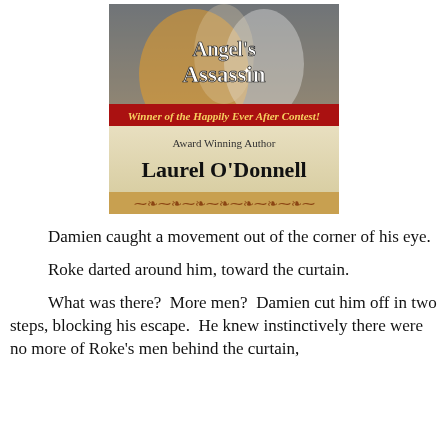[Figure (illustration): Book cover for 'Angel's Assassin' by Laurel O'Donnell. Features a fantasy/medieval scene with an angelic figure. A red banner reads 'Winner of the Happily Ever After Contest!' Below: 'Award Winning Author' and 'Laurel O'Donnell' in large black text, with a decorative scroll border at the bottom.]
Damien caught a movement out of the corner of his eye.
Roke darted around him, toward the curtain.
What was there?  More men?  Damien cut him off in two steps, blocking his escape.  He knew instinctively there were no more of Roke's men behind the curtain,